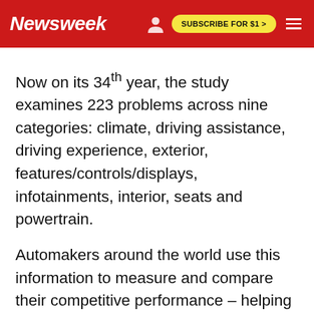Newsweek | SUBSCRIBE FOR $1 >
Now on its 34th year, the study examines 223 problems across nine categories: climate, driving assistance, driving experience, exterior, features/controls/displays, infotainments, interior, seats and powertrain.
Automakers around the world use this information to measure and compare their competitive performance – helping them to design and build higher quality vehicles.